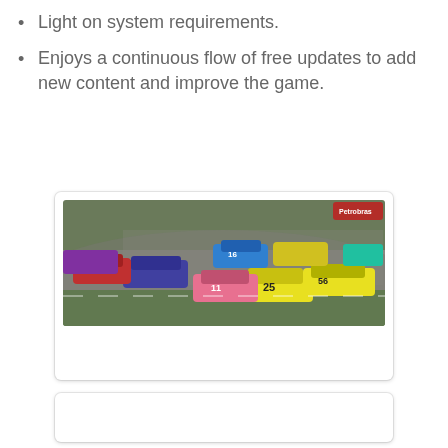Light on system requirements.
Enjoys a continuous flow of free updates to add new content and improve the game.
[Figure (photo): A race track scene showing multiple colorful stock cars/trucks racing on a circuit with green grass infield visible]
[Figure (other): Empty white card/panel placeholder]